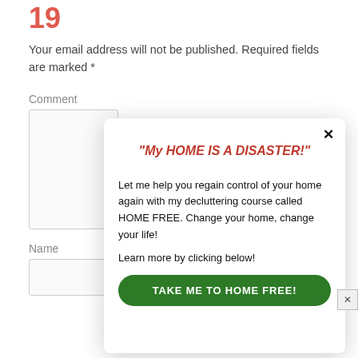Your email address will not be published. Required fields are marked *
Comment
Name
[Figure (screenshot): A modal popup dialog with a red italic title '"My HOME IS A DISASTER!"', body text inviting user to join a decluttering course called HOME FREE, and a green button labeled 'TAKE ME TO HOME FREE!']